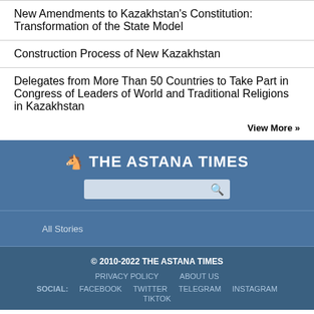New Amendments to Kazakhstan's Constitution: Transformation of the State Model
Construction Process of New Kazakhstan
Delegates from More Than 50 Countries to Take Part in Congress of Leaders of World and Traditional Religions in Kazakhstan
View More »
[Figure (logo): The Astana Times logo with horse icon and search bar on blue background]
All Stories
© 2010-2022 THE ASTANA TIMES | PRIVACY POLICY | ABOUT US | SOCIAL: FACEBOOK TWITTER TELEGRAM INSTAGRAM TIKTOK